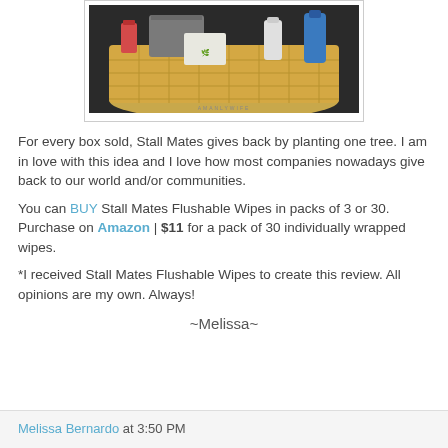[Figure (photo): Photograph of a wicker basket filled with various personal care products including towels, wipes, and hygiene items.]
For every box sold, Stall Mates gives back by planting one tree. I am in love with this idea and I love how most companies nowadays give back to our world and/or communities.
You can BUY Stall Mates Flushable Wipes in packs of 3 or 30. Purchase on Amazon | $11 for a pack of 30 individually wrapped wipes.
*I received Stall Mates Flushable Wipes to create this review. All opinions are my own. Always!
~Melissa~
Melissa Bernardo at 3:50 PM